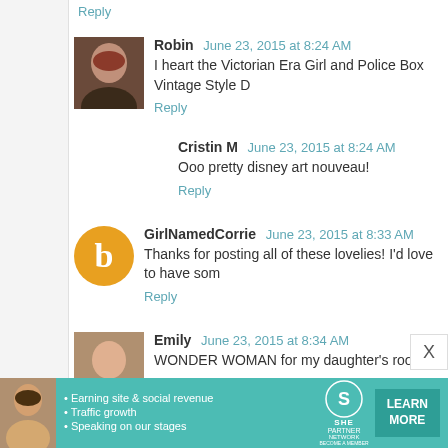Reply
Robin  June 23, 2015 at 8:24 AM
I heart the Victorian Era Girl and Police Box Vintage Style D
Reply
Cristin M  June 23, 2015 at 8:24 AM
Ooo pretty disney art nouveau!
Reply
GirlNamedCorrie  June 23, 2015 at 8:33 AM
Thanks for posting all of these lovelies! I'd love to have som
Reply
Emily  June 23, 2015 at 8:34 AM
WONDER WOMAN for my daughter's room!!
[Figure (infographic): SHE Partner Network advertisement banner with woman photo, bullet points about earning site & social revenue, traffic growth, speaking on stages, SHE logo, and LEARN MORE button.]